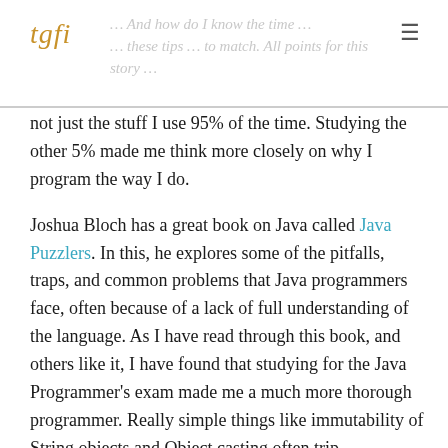tgfi
not just the stuff I use 95% of the time. Studying the other 5% made me think more closely on why I program the way I do.
Joshua Bloch has a great book on Java called Java Puzzlers. In this, he explores some of the pitfalls, traps, and common problems that Java programmers face, often because of a lack of full understanding of the language. As I have read through this book, and others like it, I have found that studying for the Java Programmer's exam made me a much more thorough programmer. Really simple things like immutability of String objects and Object casting often trip programmers up, but these things are always on my mind while programming now, so I have no issues.